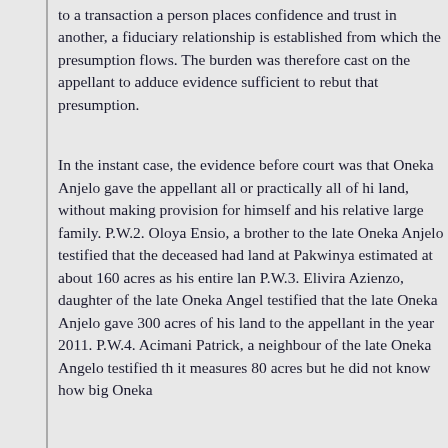to a transaction a person places confidence and trust in another, a fiduciary relationship is established from which the presumption flows. The burden was therefore cast on the appellant to adduce evidence sufficient to rebut that presumption.
In the instant case, the evidence before court was that Oneka Anjelo gave the appellant all or practically all of his land, without making provision for himself and his relatives large family. P.W.2. Oloya Ensio, a brother to the late Oneka Anjelo testified that the deceased had land at Pakwinya estimated at about 160 acres as his entire land. P.W.3. Elivira Azienzo, daughter of the late Oneka Anjelo testified that the late Oneka Anjelo gave 300 acres of his land to the appellant in the year 2011. P.W.4. Acimani Patrick, a neighbour of the late Oneka Angelo testified that it measures 80 acres but he did not know how big Oneka